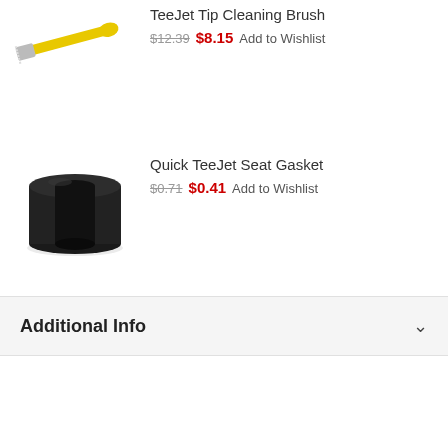[Figure (illustration): TeeJet Tip Cleaning Brush - yellow handle with white bristles at one end]
TeeJet Tip Cleaning Brush $12.39 $8.15 Add to Wishlist
[Figure (illustration): Quick TeeJet Seat Gasket - black rubber washer/ring]
Quick TeeJet Seat Gasket $0.71 $0.41 Add to Wishlist
Additional Info